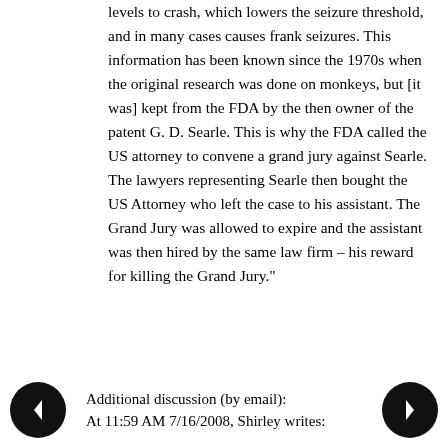levels to crash, which lowers the seizure threshold, and in many cases causes frank seizures. This information has been known since the 1970s when the original research was done on monkeys, but [it was] kept from the FDA by the then owner of the patent G. D. Searle. This is why the FDA called the US attorney to convene a grand jury against Searle. The lawyers representing Searle then bought the US Attorney who left the case to his assistant. The Grand Jury was allowed to expire and the assistant was then hired by the same law firm – his reward for killing the Grand Jury."
Additional discussion (by email):
At 11:59 AM 7/16/2008, Shirley writes: